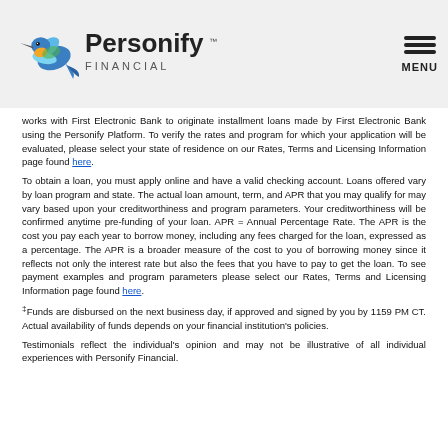Personify Financial [logo] MENU
works with First Electronic Bank to originate installment loans made by First Electronic Bank using the Personify Platform. To verify the rates and program for which your application will be evaluated, please select your state of residence on our Rates, Terms and Licensing Information page found here.
To obtain a loan, you must apply online and have a valid checking account. Loans offered vary by loan program and state. The actual loan amount, term, and APR that you may qualify for may vary based upon your creditworthiness and program parameters. Your creditworthiness will be confirmed anytime pre-funding of your loan. APR = Annual Percentage Rate. The APR is the cost you pay each year to borrow money, including any fees charged for the loan, expressed as a percentage. The APR is a broader measure of the cost to you of borrowing money since it reflects not only the interest rate but also the fees that you have to pay to get the loan. To see payment examples and program parameters please select our Rates, Terms and Licensing Information page found here.
‡Funds are disbursed on the next business day, if approved and signed by you by 1159 PM CT. Actual availability of funds depends on your financial institution's policies.
Testimonials reflect the individual's opinion and may not be illustrative of all individual experiences with Personify Financial.